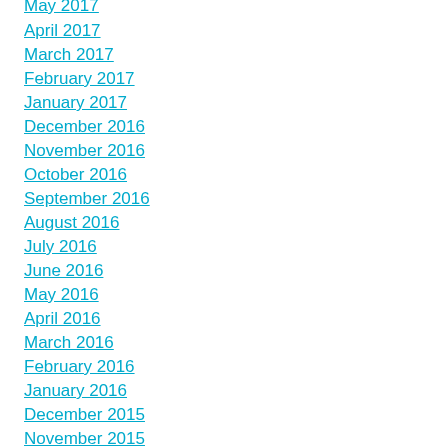May 2017
April 2017
March 2017
February 2017
January 2017
December 2016
November 2016
October 2016
September 2016
August 2016
July 2016
June 2016
May 2016
April 2016
March 2016
February 2016
January 2016
December 2015
November 2015